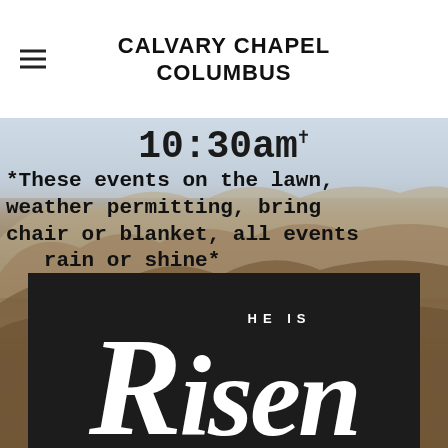CALVARY CHAPEL COLUMBUS
[Figure (photo): Aerial landscape photo of dry golden-brown hills and valleys with overcast sky. Overlaid text reads: 10:30am† *These events on the lawn, weather permitting, bring chair or blanket, all events rain or shine*]
[Figure (illustration): Dark/black rectangular banner with white script text reading 'HE IS Risen' — Easter religious message from Calvary Chapel Columbus]